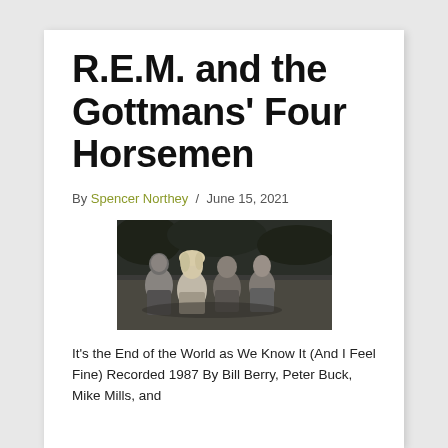R.E.M. and the Gottmans’ Four Horsemen
By Spencer Northey / June 15, 2021
[Figure (photo): Black and white photograph of four band members of R.E.M. posed together outdoors]
It’s the End of the World as We Know It (And I Feel Fine) Recorded 1987 By Bill Berry, Peter Buck, Mike Mills, and